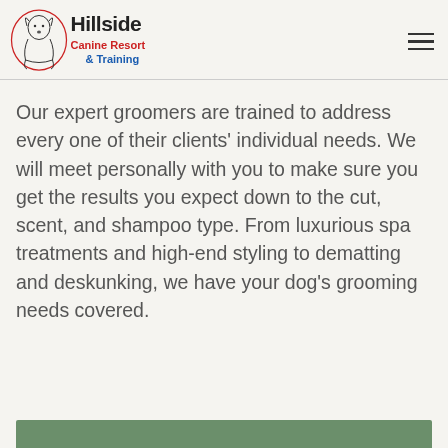[Figure (logo): Hillside Canine Resort & Training logo with dog illustration and text]
Our expert groomers are trained to address every one of their clients' individual needs. We will meet personally with you to make sure you get the results you expect down to the cut, scent, and shampoo type. From luxurious spa treatments and high-end styling to dematting and deskunking, we have your dog's grooming needs covered.